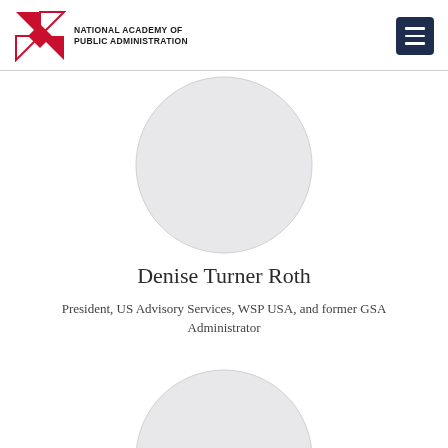National Academy of Public Administration
[Figure (illustration): Circular profile photo placeholder (light gray circle) for Denise Turner Roth]
Denise Turner Roth
President, US Advisory Services, WSP USA, and former GSA Administrator
[Figure (illustration): Circular profile photo placeholder (light gray circle) for next person]